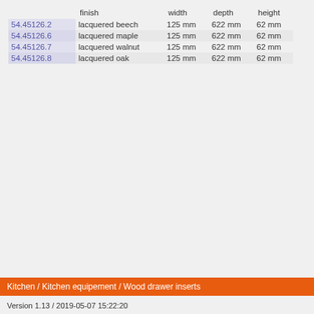|  | finish | width | depth | height |
| --- | --- | --- | --- | --- |
| 54.45126.2 | lacquered beech | 125 mm | 622 mm | 62 mm |
| 54.45126.6 | lacquered maple | 125 mm | 622 mm | 62 mm |
| 54.45126.7 | lacquered walnut | 125 mm | 622 mm | 62 mm |
| 54.45126.8 | lacquered oak | 125 mm | 622 mm | 62 mm |
Kitchen / Kitchen equipement / Wood drawer inserts
Version 1.13 / 2019-05-07 15:22:20